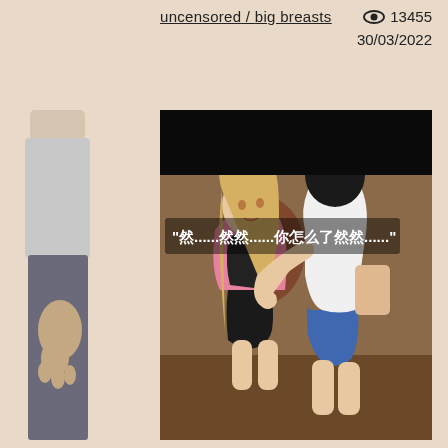uncensored / big breasts
👁 13455
30/03/2022
[Figure (illustration): 3D rendered illustration showing anime-style characters in an indoor scene with Chinese text overlay reading: '然......然然......你怎么了然然......']